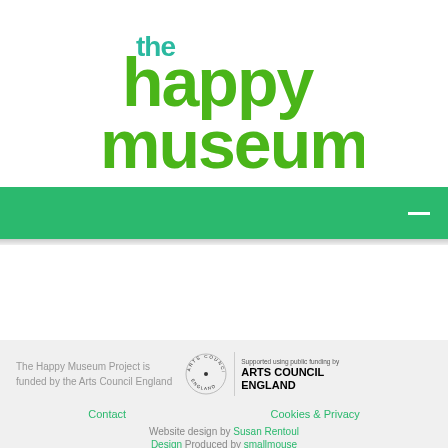[Figure (logo): The Happy Museum logo in green and teal, with 'the' in teal and 'happy museum' in large green bold lowercase letters]
[Figure (other): Green navigation bar with white hamburger menu icon on the right]
The Happy Museum Project is funded by the Arts Council England
[Figure (logo): Arts Council England logo: circular text around the edge reading ARTS COUNCIL ENGLAND, with supported using public funding by text and bold ARTS COUNCIL ENGLAND text]
Contact
Cookies & Privacy
Website design by Susan Rentoul
Design Produced by smallmouse
The Happy Museum CIC Company number 9978171